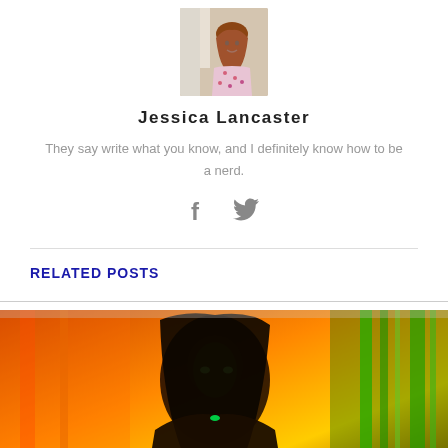[Figure (photo): Author photo of Jessica Lancaster, a woman with reddish hair wearing a floral top, photographed outdoors]
Jessica Lancaster
They say write what you know, and I definitely know how to be a nerd.
[Figure (illustration): Social media icons: Facebook (f) and Twitter (bird)]
RELATED POSTS
[Figure (photo): Movie poster showing a woman with long dark hair against a vivid orange, red, and green streaked background — Wonder Woman 1984 style promotional image]